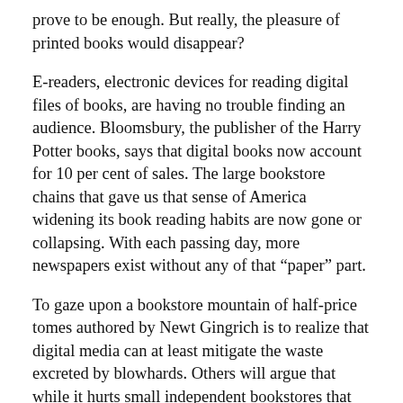prove to be enough. But really, the pleasure of printed books would disappear?
E-readers, electronic devices for reading digital files of books, are having no trouble finding an audience. Bloomsbury, the publisher of the Harry Potter books, says that digital books now account for 10 per cent of sales. The large bookstore chains that gave us that sense of America widening its book reading habits are now gone or collapsing. With each passing day, more newspapers exist without any of that “paper” part.
To gaze upon a bookstore mountain of half-price tomes authored by Newt Gingrich is to realize that digital media can at least mitigate the waste excreted by blowhards. Others will argue that while it hurts small independent bookstores that may be struggling in your neighborhood, online services like Amazon can get more books to more people. And I should point out that you might be reading this defense of books right here on your computer. Still, my paper newspaper says it’s going to be a rainy